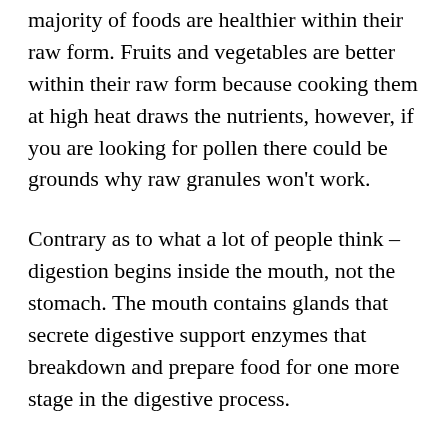majority of foods are healthier within their raw form. Fruits and vegetables are better within their raw form because cooking them at high heat draws the nutrients, however, if you are looking for pollen there could be grounds why raw granules won't work.
Contrary as to what a lot of people think – digestion begins inside the mouth, not the stomach. The mouth contains glands that secrete digestive support enzymes that breakdown and prepare food for one more stage in the digestive process.